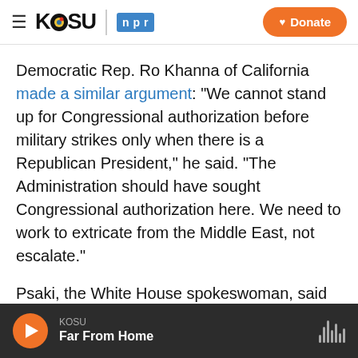KOSU | npr — Donate
Democratic Rep. Ro Khanna of California made a similar argument: "We cannot stand up for Congressional authorization before military strikes only when there is a Republican President," he said. "The Administration should have sought Congressional authorization here. We need to work to extricate from the Middle East, not escalate."
Psaki, the White House spokeswoman, said that the administration had conducted a legal review before conducting the strikes.
"As a matter of international law, the United States
KOSU — Far From Home